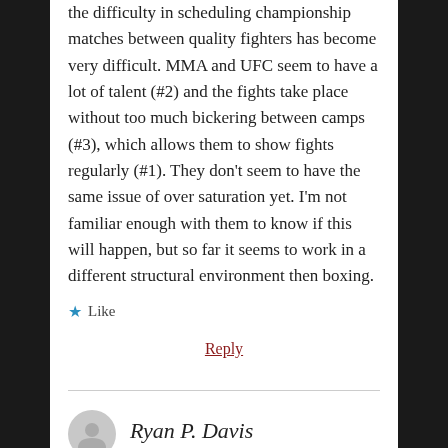the difficulty in scheduling championship matches between quality fighters has become very difficult. MMA and UFC seem to have a lot of talent (#2) and the fights take place without too much bickering between camps (#3), which allows them to show fights regularly (#1). They don't seem to have the same issue of over saturation yet. I'm not familiar enough with them to know if this will happen, but so far it seems to work in a different structural environment then boxing.
★ Like
Reply
Ryan P. Davis